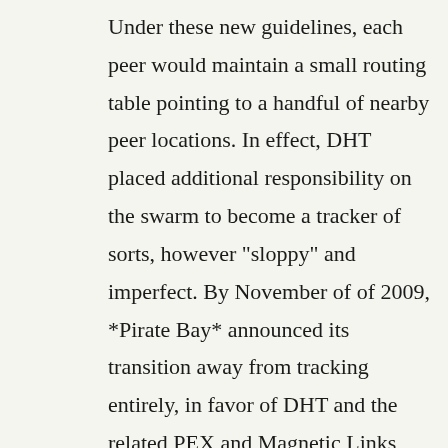Under these new guidelines, each peer would maintain a small routing table pointing to a handful of nearby peer locations. In effect, DHT placed additional responsibility on the swarm to become a tracker of sorts, however "sloppy" and imperfect. By November of of 2009, *Pirate Bay* announced its transition away from tracking entirely, in favor of DHT and the related PEX and Magnetic Links protocols. At the time they called it, "world's most resilient